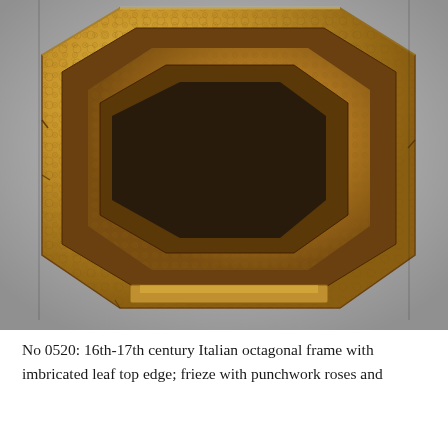[Figure (photo): Photograph of a 16th-17th century Italian octagonal gilded picture frame with imbricated leaf top edge, frieze with punchwork roses. The frame is gilded gold/amber in color, octagonal in shape, photographed against a light grey background.]
No 0520: 16th-17th century Italian octagonal frame with imbricated leaf top edge; frieze with punchwork roses and